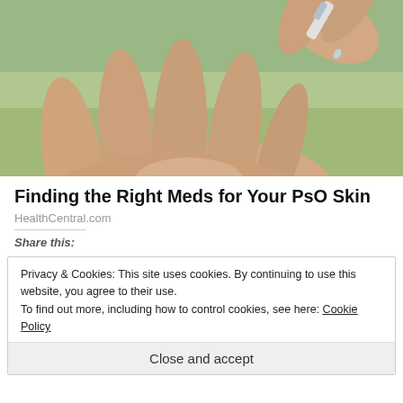[Figure (photo): Close-up of hands with a dropper dispensing liquid onto a palm, green background]
Finding the Right Meds for Your PsO Skin
HealthCentral.com
Share this:
Privacy & Cookies: This site uses cookies. By continuing to use this website, you agree to their use. To find out more, including how to control cookies, see here: Cookie Policy
Close and accept